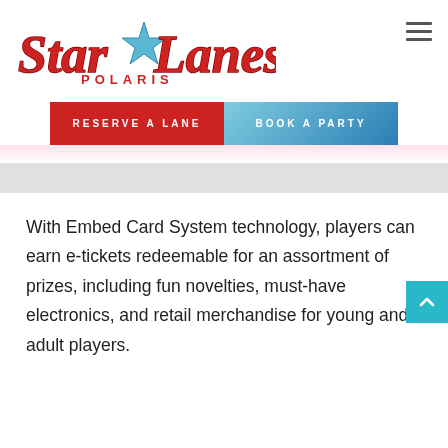[Figure (logo): Star Lanes Polaris logo with red retro script text and blue star icon]
RESERVE A LANE
BOOK A PARTY
With Embed Card System technology, players can earn e-tickets redeemable for an assortment of prizes, including fun novelties, must-have electronics, and retail merchandise for young and adult players.